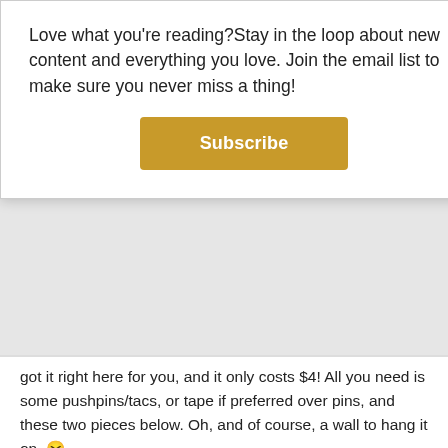Love what you're reading?Stay in the loop about new content and everything you love. Join the email list to make sure you never miss a thing!
Subscribe
got it right here for you, and it only costs $4! All you need is some pushpins/tacs, or tape if preferred over pins, and these two pieces below. Oh, and of course, a wall to hang it on. 😛
[Figure (photo): Photo of a 'merry' cursive red letter garland/banner hung on a wall with a gold string, with part of a Christmas decoration visible below.]